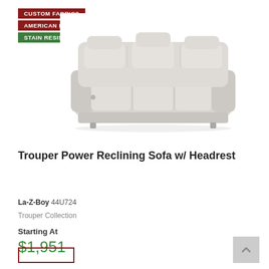[Figure (other): Three product badge labels stacked vertically: 'CUSTOM FABRICS' on dark red background, 'AMERICAN MADE' on dark red background, 'STAIN RESISTANT' on green background, all with white bold text]
[Figure (photo): Light gray/cream colored La-Z-Boy Trouper Power Reclining Sofa with headrest, three-seat reclining sofa on white background]
Trouper Power Reclining Sofa w/ Headrest
La-Z-Boy 44U724
Trouper Collection
Starting At
$1,951